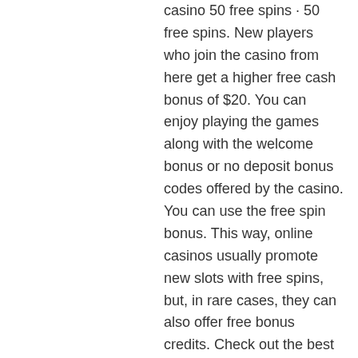casino 50 free spins · 50 free spins. New players who join the casino from here get a higher free cash bonus of $20. You can enjoy playing the games along with the welcome bonus or no deposit bonus codes offered by the casino. You can use the free spin bonus. This way, online casinos usually promote new slots with free spins, but, in rare cases, they can also offer free bonus credits. Check out the best no deposit casino bonuses available this may and get the no deposit bonus codes you need to claim your free bonuses. Windy city slot (50 free spins) · casino extreme no deposit bonus – 100 free spins · el royale casino – ($35 free) · slotgard casino (50 free. No deposit bonuses, a bonus list with a lot of casino freebies. Find all the bonus codes for free casino money and no deposit casino freebies. If you're new to the casino, use this no deposit bonus code to get 35 free. Learn how a no deposit bonus works. Find out available free